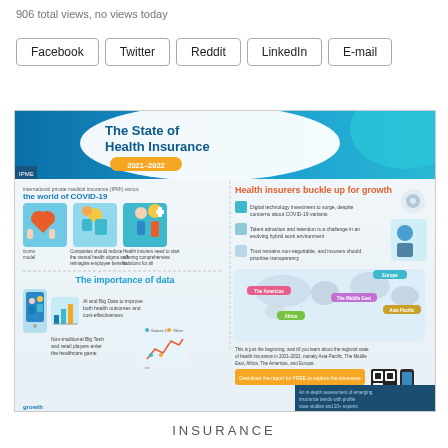906 total views, no views today
Facebook
Twitter
Reddit
LinkedIn
E-mail
[Figure (infographic): Infographic titled 'The State of Health Insurance 2021-2022' covering international private medical insurance (IPMI) sector and COVID-19 impacts. Features sections on mental health, employee benefits, health insurer growth strategies, digital technology investment, talent retention, transparency, importance of data, AI and Big Data, non-traditional Big Tech players, and a world map showing regional coverage: Europe, The Americas, The Middle East, Asia Pacific, Africa. Includes a download CTA and QR code.]
INSURANCE